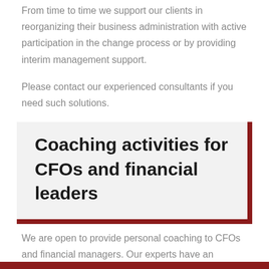From time to time we support our clients in reorganizing their business administration with active participation in the change process or by providing interim management support.
Please contact our experienced consultants if you need such solutions.
Coaching activities for CFOs and financial leaders
We are open to provide personal coaching to CFOs and financial managers. Our experts have an excellent track record in this field.
Please contact us for more information.